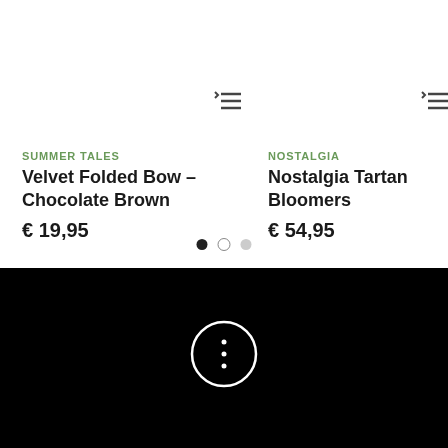[Figure (screenshot): List/menu icon for left product card]
[Figure (screenshot): List/menu icon for right product card]
SUMMER TALES
Velvet Folded Bow – Chocolate Brown
€ 19,95
NOSTALGIA
Nostalgia Tartan Bloomers
€ 54,95
[Figure (other): Pagination dots: three dots, first filled, second empty circle, third light gray]
[Figure (other): Black section with white circle containing three vertical dots (more options icon)]